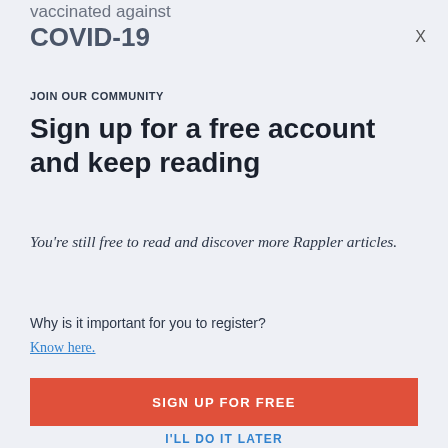vaccinated against COVID-19
X
JOIN OUR COMMUNITY
Sign up for a free account and keep reading
You're still free to read and discover more Rappler articles.
Why is it important for you to register?
Know here.
SIGN UP FOR FREE
I'LL DO IT LATER